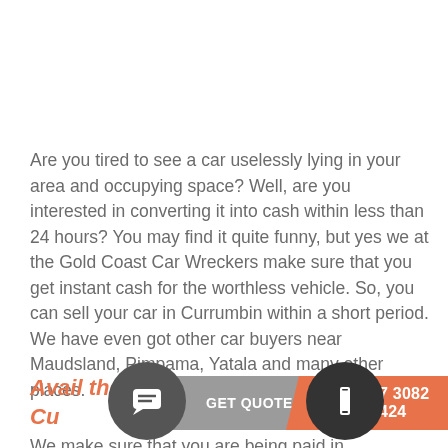Are you tired to see a car uselessly lying in your area and occupying space? Well, are you interested in converting it into cash within less than 24 hours? You may find it quite funny, but yes we at the Gold Coast Car Wreckers make sure that you get instant cash for the worthless vehicle. So, you can sell your car in Currumbin within a short period. We have even got other car buyers near Maudsland, Pimpama, Yatala and many other places.
Avail the best offers of the car in Cu...
We make sure that you are being paid in...
[Figure (infographic): Bottom bar with chat button circle, GET QUOTE grey banner, phone icon circle, and 07 3082 6424 orange banner]